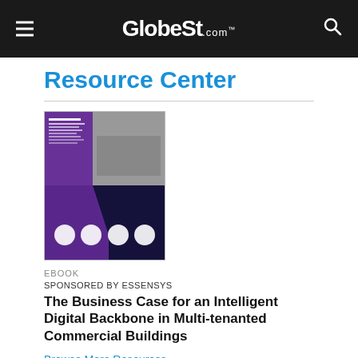GlobeSt.com
Resource Center
[Figure (illustration): Ebook cover image for 'The Business Case for an Intelligent Digital Backbone in Multi-tenanted Commercial Buildings' by Essensys, showing office space and infographic circles on purple/dark background]
EBOOK
SPONSORED BY ESSENSYS
The Business Case for an Intelligent Digital Backbone in Multi-tenanted Commercial Buildings
Browse More Resources ›